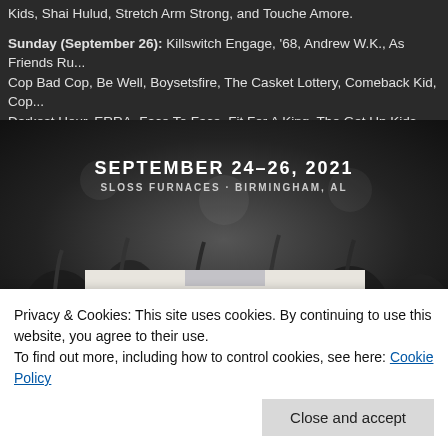Sunday (September 26): Killswitch Engage, '68, Andrew W.K., As Friends Ru... Cop Bad Cop, Be Well, Boysetsfire, The Casket Lottery, Comeback Kid, Cop... Darkest Hour, ERRA, Face To Face, Fit For A King, The Get Up Kids, Hatebre... Water Music, The Judas Cradle, The Juliana Theory, Knocked Loose, Light T... Meadows, MewithoutYou, Piebald, Showbread, Turnstile, and Unearth.
[Figure (photo): Black and white photo of concert crowd with hands raised, overlaid with festival info: SEPTEMBER 24-26, 2021 / SLOSS FURNACES - BIRMINGHAM, AL]
[Figure (photo): Festival poster on light background with tape at top. Shows 'Friday Sep 24' badge and 'UNDEROATH' in large hand-written style text.]
Privacy & Cookies: This site uses cookies. By continuing to use this website, you agree to their use.
To find out more, including how to control cookies, see here: Cookie Policy
Close and accept